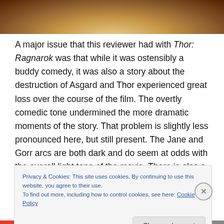[Figure (photo): Partial view of a person (Thor character) in an action/movie scene with warm golden lighting]
A major issue that this reviewer had with Thor: Ragnarok was that while it was ostensibly a buddy comedy, it was also a story about the destruction of Asgard and Thor experienced great loss over the course of the film. The overtly comedic tone undermined the more dramatic moments of the story. That problem is slightly less pronounced here, but still present. The Jane and Gorr arcs are both dark and do seem at odds with the overall light tone of the movie. There is also a lot of ground to cover,
Privacy & Cookies: This site uses cookies. By continuing to use this website, you agree to their use.
To find out more, including how to control cookies, see here: Cookie Policy
Close and accept